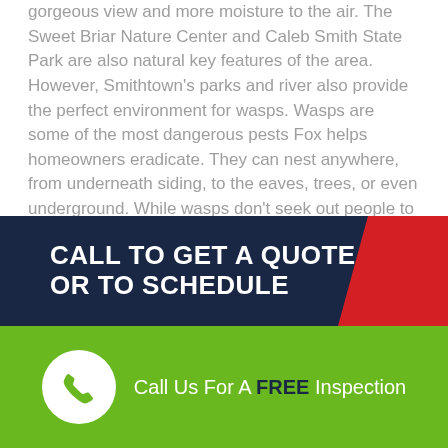gorgeous view and more moisture to the air. The Sweet Briar Nature Center and Caleb Smith State Park are also natural key features of the area. However, Smithtown's parks and river also provide the perfect environment for wasps. Wasps are some of the most dangerous pests Fox helps homeowners eradicate. They can nest anywhere, from underneath siding, to the eaves, trees, or even underground. While wasps don't seek out people to attack, they can be very aggressive if they think their nest is in danger. Even though most people have a fairly mild reaction to a wasp sting, others experience bad reactions like anaphylaxis. Call Fox Pest Control today if you suspect wasps are nesting on your property.
CALL TO GET A QUOTE OR TO SCHEDULE
Call Us For A FREE Inspection